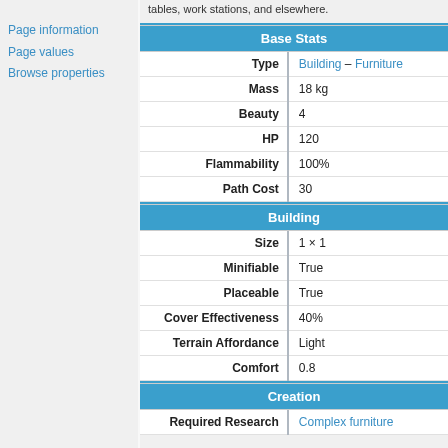tables, work stations, and elsewhere.
Page information
Page values
Browse properties
Base Stats
| Property |  | Value |
| --- | --- | --- |
| Type | | | Building – Furniture |
| Mass | | | 18 kg |
| Beauty | | | 4 |
| HP | | | 120 |
| Flammability | | | 100% |
| Path Cost | | | 30 |
Building
| Property |  | Value |
| --- | --- | --- |
| Size | | | 1 × 1 |
| Minifiable | | | True |
| Placeable | | | True |
| Cover Effectiveness | | | 40% |
| Terrain Affordance | | | Light |
| Comfort | | | 0.8 |
Creation
| Property |  | Value |
| --- | --- | --- |
| Required Research | | | Complex furniture |